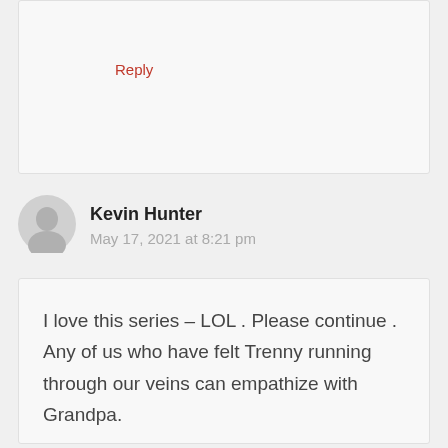Reply
Kevin Hunter
May 17, 2021 at 8:21 pm
I love this series – LOL . Please continue . Any of us who have felt Trenny running through our veins can empathize with Grandpa.